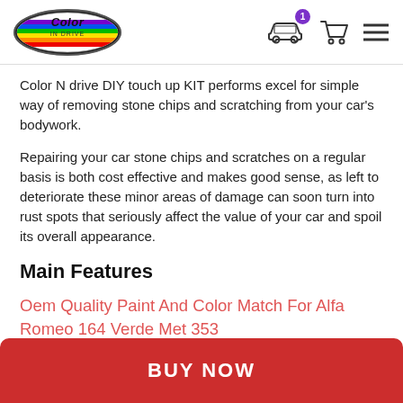Color N Drive logo and navigation icons
Color N drive DIY touch up KIT performs excel for simple way of removing stone chips and scratching from your car's bodywork.
Repairing your car stone chips and scratches on a regular basis is both cost effective and makes good sense, as left to deteriorate these minor areas of damage can soon turn into rust spots that seriously affect the value of your car and spoil its overall appearance.
Main Features
Oem Quality Paint And Color Match For Alfa Romeo 164 Verde Met 353
We guarantee our paint will match the original color of your Alfa Romeo, Our database of automotive paint colors create a valuable